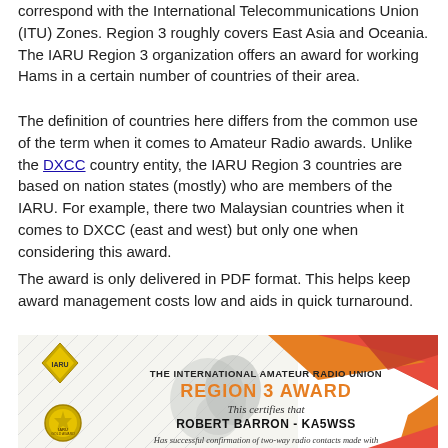correspond with the International Telecommunications Union (ITU) Zones. Region 3 roughly covers East Asia and Oceania. The IARU Region 3 organization offers an award for working Hams in a certain number of countries of their area.
The definition of countries here differs from the common use of the term when it comes to Amateur Radio awards. Unlike the DXCC country entity, the IARU Region 3 countries are based on nation states (mostly) who are members of the IARU. For example, there two Malaysian countries when it comes to DXCC (east and west) but only one when considering this award.
The award is only delivered in PDF format. This helps keep award management costs low and aids in quick turnaround.
[Figure (photo): Certificate image: THE INTERNATIONAL AMATEUR RADIO UNION REGION 3 AWARD. This certifies that ROBERT BARRON - KA5WS Has successful confirmation of two-way radio contacts made with. Features IARU diamond logo, gold medal seal, decorative red/orange geometric shapes, and a map of Asia/Oceania region.]